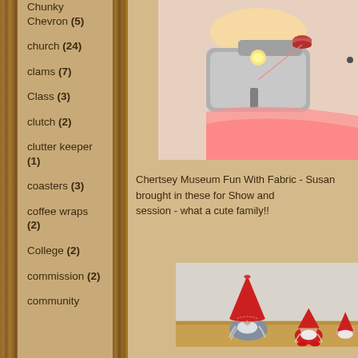Chunky Chevron (5)
church (24)
clams (7)
Class (3)
clutch (2)
clutter keeper (1)
coasters (3)
coffee wraps (2)
College (2)
commission (2)
community
[Figure (photo): Photo of a sewing machine with pink fabric/material, lit from above with a warm light, on a light surface. A spool of red thread is visible on top.]
Chertsey Museum Fun With Fabric - Susan brought in these for Show and session - what a cute family!!
[Figure (photo): Photo of handmade gnome/tomte figures with red felt hats and grey bodies with snowflake decorations, sitting on a wooden surface. Three gnomes of different sizes are shown, with white yarn beards and hair.]